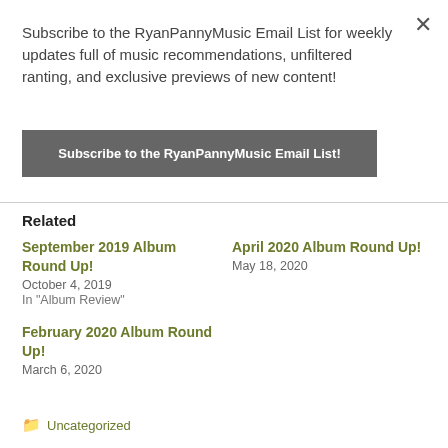Subscribe to the RyanPannyMusic Email List for weekly updates full of music recommendations, unfiltered ranting, and exclusive previews of new content!
Subscribe to the RyanPannyMusic Email List!
Related
September 2019 Album Round Up!
October 4, 2019
In "Album Review"
April 2020 Album Round Up!
May 18, 2020
February 2020 Album Round Up!
March 6, 2020
Uncategorized